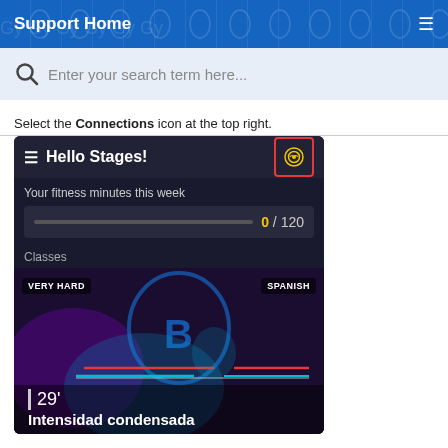Support Home
Enter your search term here...
Select the Connections icon at the top right.
[Figure (screenshot): Mobile app screenshot showing 'Hello Stages!' home screen with connections icon highlighted by red border, fitness minutes progress bar showing 0/120, Classes section with a class card labeled VERY HARD and SPANISH showing a cycling instructor, duration 29', title 'Intensidad condensada']